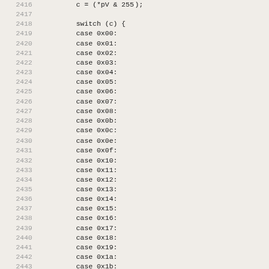Code listing lines 2416-2448, showing a switch(c) statement with case 0x00 through 0x1f and more